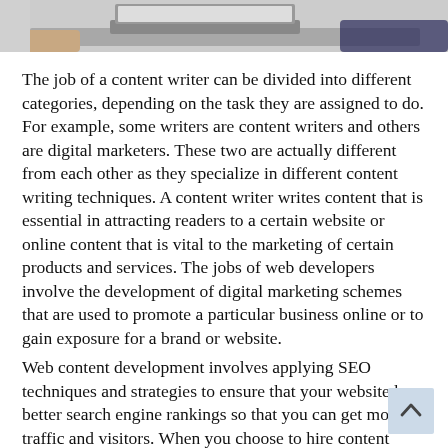[Figure (photo): Partial photo of a person at a desk with a laptop, cropped at top of page]
The job of a content writer can be divided into different categories, depending on the task they are assigned to do. For example, some writers are content writers and others are digital marketers. These two are actually different from each other as they specialize in different content writing techniques. A content writer writes content that is essential in attracting readers to a certain website or online content that is vital to the marketing of certain products and services. The jobs of web developers involve the development of digital marketing schemes that are used to promote a particular business online or to gain exposure for a brand or website.
Web content development involves applying SEO techniques and strategies to ensure that your website has better search engine rankings so that you can get more traffic and visitors. When you choose to hire content developers, you also get value added services like strat...